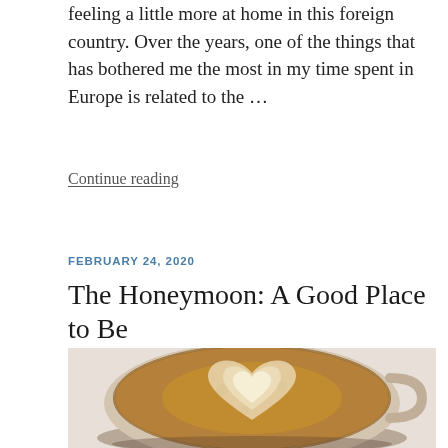feeling a little more at home in this foreign country. Over the years, one of the things that has bothered me the most in my time spent in Europe is related to the ...
Continue reading
FEBRUARY 24, 2020
The Honeymoon: A Good Place to Be
[Figure (photo): Overhead view of a coffee latte in a white cup with latte art in the shape of a heart, on a white surface]